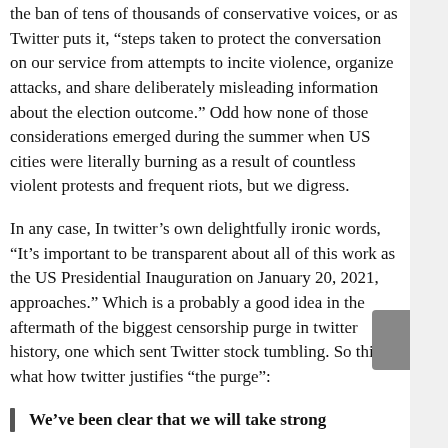the ban of tens of thousands of conservative voices, or as Twitter puts it, “steps taken to protect the conversation on our service from attempts to incite violence, organize attacks, and share deliberately misleading information about the election outcome.” Odd how none of those considerations emerged during the summer when US cities were literally burning as a result of countless violent protests and frequent riots, but we digress.
In any case, In twitter’s own delightfully ironic words, “It’s important to be transparent about all of this work as the US Presidential Inauguration on January 20, 2021, approaches.” Which is a probably a good idea in the aftermath of the biggest censorship purge in twitter history, one which sent Twitter stock tumbling. So this is what how twitter justifies “the purge”:
We’ve been clear that we will take strong